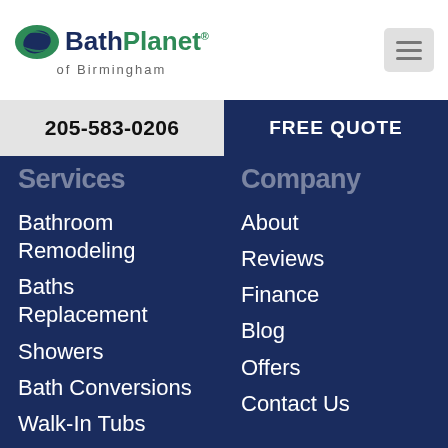[Figure (logo): Bath Planet of Birmingham logo with leaf/oval icon, 'BathPlanet' text in navy and green, 'of Birmingham' subtitle]
[Figure (other): Hamburger menu icon (three horizontal lines) in grey box]
205-583-0206
FREE QUOTE
Services
Company
Bathroom Remodeling
Baths Replacement
Showers
Bath Conversions
Walk-In Tubs
Bath Remodel
About
Reviews
Finance
Blog
Offers
Contact Us